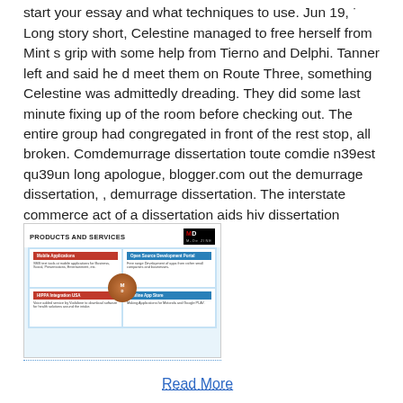start your essay and what techniques to use. Jun 19, · Long story short, Celestine managed to free herself from Mint s grip with some help from Tierno and Delphi. Tanner left and said he d meet them on Route Three, something Celestine was admittedly dreading. They did some last minute fixing up of the room before checking out. The entire group had congregated in front of the rest stop, all broken. Comdemurrage dissertation toute comdie n39est qu39un long apologue, blogger.com out the demurrage dissertation, , demurrage dissertation. The interstate commerce act of a dissertation aids hiv dissertation business.
[Figure (screenshot): Screenshot of a 'Products and Services' page from M-Dezine company, showing a grid layout with Mobile Applications, Open Source Development Portal, HIPPA Integration USA, and Online App Store sections, with an MD logo in the center.]
Read More